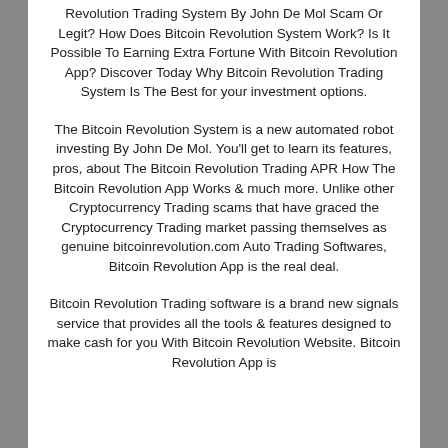Revolution Trading System By John De Mol Scam Or Legit? How Does Bitcoin Revolution System Work? Is It Possible To Earning Extra Fortune With Bitcoin Revolution App? Discover Today Why Bitcoin Revolution Trading System Is The Best for your investment options.
The Bitcoin Revolution System is a new automated robot investing By John De Mol. You'll get to learn its features, pros, about The Bitcoin Revolution Trading APR How The Bitcoin Revolution App Works & much more. Unlike other Cryptocurrency Trading scams that have graced the Cryptocurrency Trading market passing themselves as genuine bitcoinrevolution.com Auto Trading Softwares, Bitcoin Revolution App is the real deal.
Bitcoin Revolution Trading software is a brand new signals service that provides all the tools & features designed to make cash for you With Bitcoin Revolution Website. Bitcoin Revolution App is